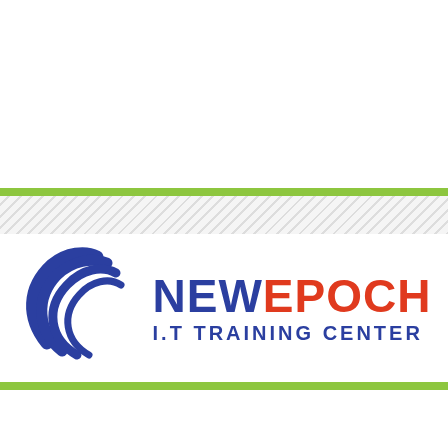[Figure (logo): New Epoch I.T Training Center logo with blue globe swirl icon and bold text NEW in blue, EPOCH in red, I.T TRAINING CENTER in blue below]
[Figure (screenshot): Video thumbnail strip at bottom showing a networking/configuration video titled 'Configuration Dynamic NAT FULL' on dark background with green scroll-to-top button]